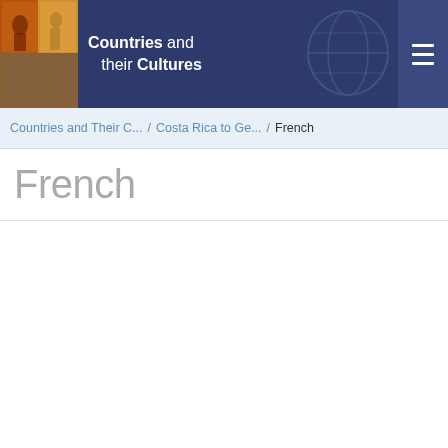Countries and their Cultures
Countries and Their C... / Costa Rica to Ge... / French
French